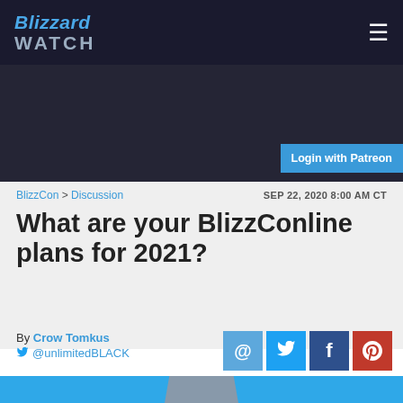Blizzard WATCH
Login with Patreon
BlizzCon > Discussion   SEP 22, 2020 8:00 AM CT
What are your BlizzConline plans for 2021?
By Crow Tomkus @unlimitedBLACK
[Figure (photo): Photo of a man on a blue background, upper body visible, wearing glasses]